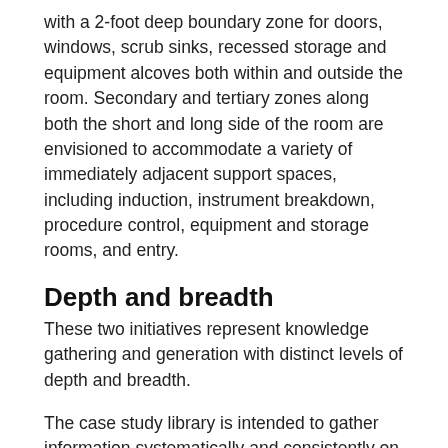with a 2-foot deep boundary zone for doors, windows, scrub sinks, recessed storage and equipment alcoves both within and outside the room. Secondary and tertiary zones along both the short and long side of the room are envisioned to accommodate a variety of immediately adjacent support spaces, including induction, instrument breakdown, procedure control, equipment and storage rooms, and entry.
Depth and breadth
These two initiatives represent knowledge gathering and generation with distinct levels of depth and breadth.
The case study library is intended to gather information systematically and consistently on projects that have been deemed through a design peer review process to be noteworthy. This information can be used immediately to share more accurate information on these projects beyond what is typically found in